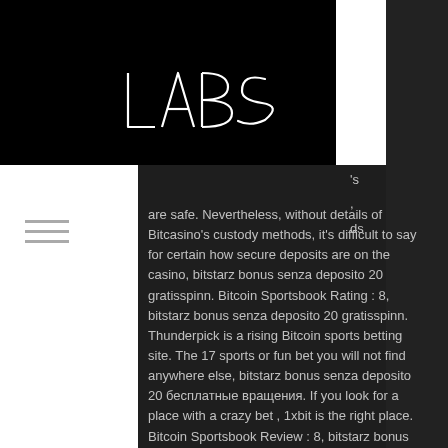[Figure (logo): LABS geometric angular logo in white on black background]
[Figure (other): Hamburger menu icon (three horizontal lines)]
's . ds are safe. Nevertheless, without details of Bitcasino's custody methods, it's difficult to say for certain how secure deposits are on the casino, bitstarz bonus senza deposito 20 gratisspinn. Bitcoin Sportsbook Rating : 8, bitstarz bonus senza deposito 20 gratisspinn. Thunderpick is a rising Bitcoin sports betting site. The 17 sports or fun bet you will not find anywhere else, bitstarz bonus senza deposito 20 бесплатные вращения. If you look for a place with a crazy bet , 1xbit is the right place. Bitcoin Sportsbook Review : 8, bitstarz bonus